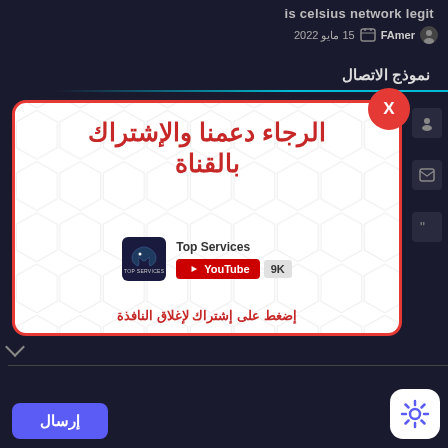is celsius network legit
FAmer  15 مايو 2022
نموذج الاتصال
[Figure (screenshot): A popup modal with a red border and hexagonal pattern background. Contains Arabic text 'الرجاء دعمنا والإشتراك بالقناة' in red bold font, a Top Services YouTube channel logo and subscribe button showing 9K subscribers, and Arabic text 'إضغط على إشتراك لإغلاق النافذة' at the bottom. A red circular X close button is at the top right of the modal.]
إرسال